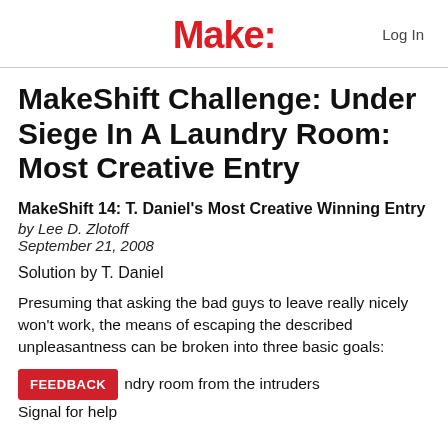Make: Log In
MakeShift Challenge: Under Siege In A Laundry Room: Most Creative Entry
MakeShift 14: T. Daniel's Most Creative Winning Entry
by Lee D. Zlotoff
September 21, 2008
Solution by T. Daniel
Presuming that asking the bad guys to leave really nicely won't work, the means of escaping the described unpleasantness can be broken into three basic goals:
...ndry room from the intruders
Signal for help